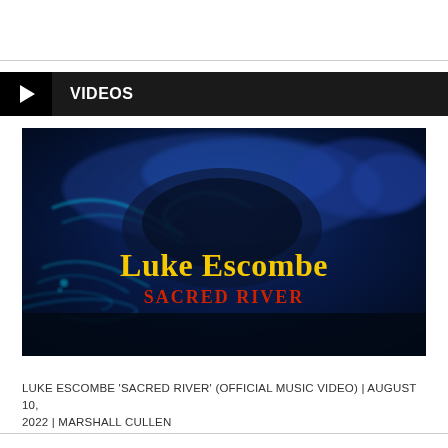VIDEOS
[Figure (screenshot): Video thumbnail for Luke Escombe 'Sacred River' music video. Dark blue underwater/fluid abstract background with the text 'Luke Escombe' in bold yellow serif font and 'SACRED RIVER' in red bold uppercase letters below it.]
LUKE ESCOMBE 'SACRED RIVER' (OFFICIAL MUSIC VIDEO) | AUGUST 10, 2022 | MARSHALL CULLEN